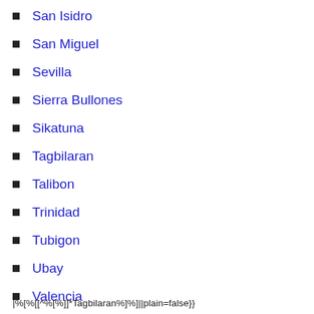San Isidro
San Miguel
Sevilla
Sierra Bullones
Sikatuna
Tagbilaran
Talibon
Trinidad
Tubigon
Ubay
Valencia
|%[%[[^%[%]]*Tagbilaran%]%]||plain=false}}